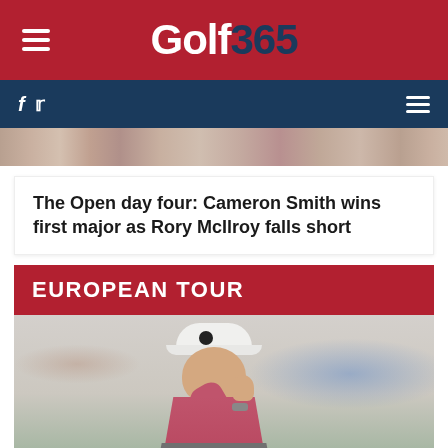Golf 365
The Open day four: Cameron Smith wins first major as Rory McIlroy falls short
EUROPEAN TOUR
[Figure (photo): Rory McIlroy raising his fist in a pink and grey Nike polo shirt and white Nike cap, with a blurred crowd in the background]